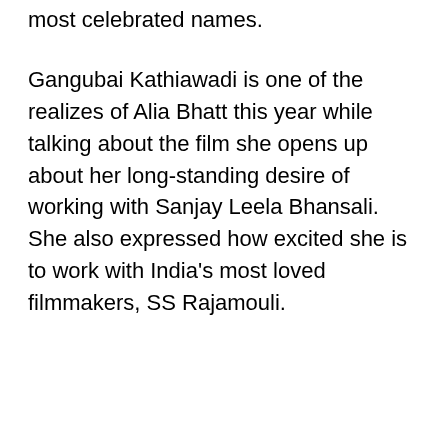most celebrated names.
Gangubai Kathiawadi is one of the realizes of Alia Bhatt this year while talking about the film she opens up about her long-standing desire of working with Sanjay Leela Bhansali. She also expressed how excited she is to work with India's most loved filmmakers, SS Rajamouli.